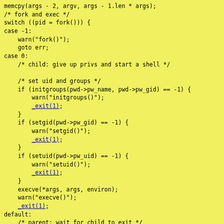Code snippet showing fork/exec pattern in C with uid/gid setting and execve call